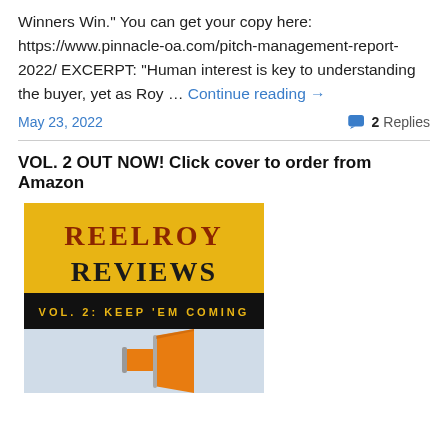Winners Win." You can get your copy here: https://www.pinnacle-oa.com/pitch-management-report-2022/ EXCERPT: "Human interest is key to understanding the buyer, yet as Roy … Continue reading →
May 23, 2022
2 Replies
VOL. 2 OUT NOW! Click cover to order from Amazon
[Figure (photo): Book cover of Reel Roy Reviews Vol. 2: Keep 'Em Coming, featuring orange megaphone on light blue background with dark title text]